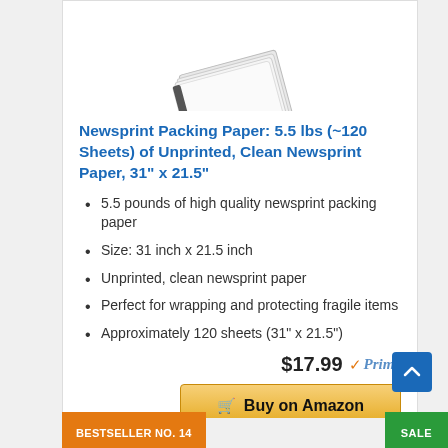[Figure (photo): Partial product image of newsprint packing paper stack at the top of the card]
Newsprint Packing Paper: 5.5 lbs (~120 Sheets) of Unprinted, Clean Newsprint Paper, 31" x 21.5"
5.5 pounds of high quality newsprint packing paper
Size: 31 inch x 21.5 inch
Unprinted, clean newsprint paper
Perfect for wrapping and protecting fragile items
Approximately 120 sheets (31" x 21.5")
$17.99 ✓Prime
Buy on Amazon
BESTSELLER NO. 14
SALE